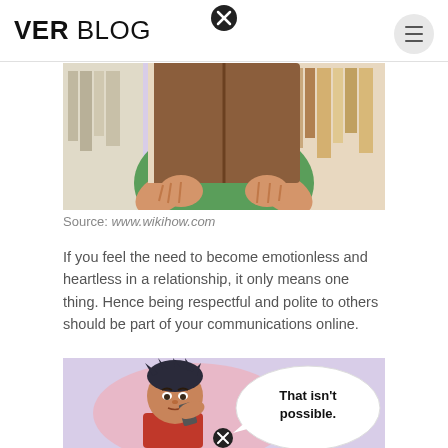VER BLOG
[Figure (illustration): WikiHow illustration showing a person hiding their face behind a brown book, wearing a green shirt, in front of bookshelves with lavender background]
Source: www.wikihow.com
If you feel the need to become emotionless and heartless in a relationship, it only means one thing. Hence being respectful and polite to others should be part of your communications online.
[Figure (illustration): WikiHow illustration showing a young man with dark spiky hair talking on a phone with a speech bubble saying 'That isn't possible.' on a lavender background]